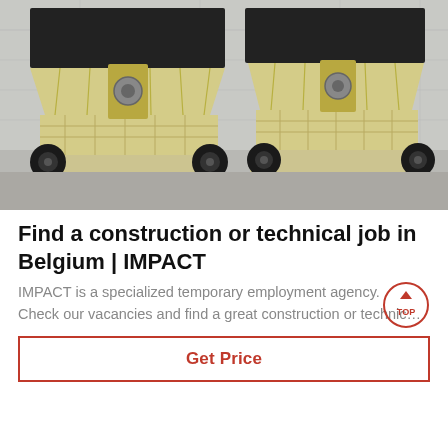[Figure (photo): Two large yellow industrial impact crushers/machines parked side by side in a warehouse or outdoor industrial facility. Both machines have open top hoppers and are mounted on wheels/axles.]
Find a construction or technical job in Belgium | IMPACT
IMPACT is a specialized temporary employment agency. Check our vacancies and find a great construction or technic…
Get Price